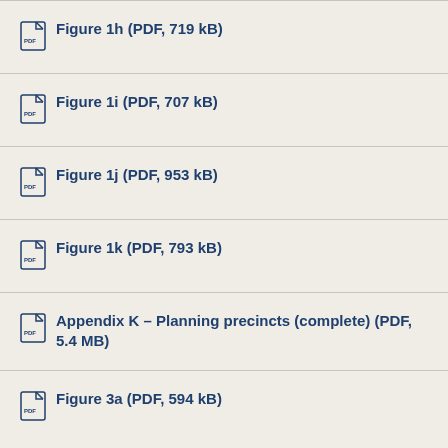Figure 1h (PDF, 719 kB)
Figure 1i (PDF, 707 kB)
Figure 1j (PDF, 953 kB)
Figure 1k (PDF, 793 kB)
Appendix K – Planning precincts (complete) (PDF, 5.4 MB)
Figure 3a (PDF, 594 kB)